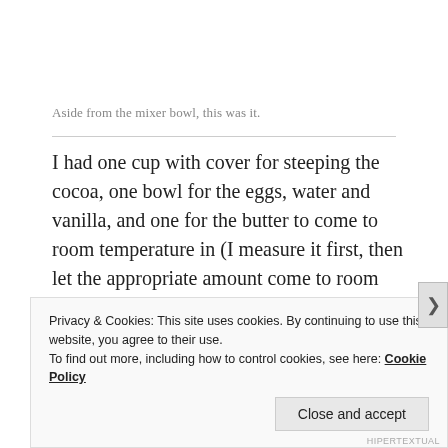Aside from the mixer bowl, this was it.
I had one cup with cover for steeping the cocoa, one bowl for the eggs, water and vanilla, and one for the butter to come to room temperature in (I measure it first, then let the appropriate amount come to room temperature). Then there was a couple of spatulas and a fork.
Privacy & Cookies: This site uses cookies. By continuing to use this website, you agree to their use.
To find out more, including how to control cookies, see here: Cookie Policy